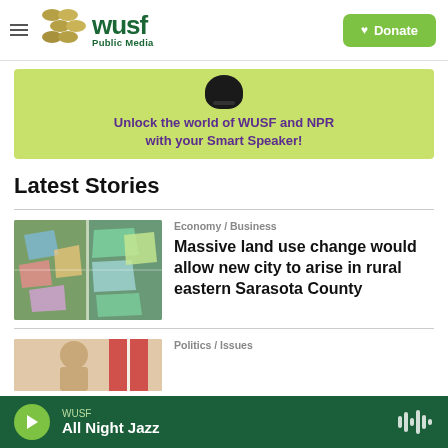WUSF Public Media — Donate
[Figure (screenshot): WUSF Public Media logo with gold oval dots and green text, hamburger menu on left, green Donate button on right]
[Figure (infographic): Green advertisement banner: 'Unlock the world of WUSF and NPR with your Smart Speaker!' with Amazon Echo device image]
Latest Stories
[Figure (photo): Aerial map image showing colored land-use parcels in rural eastern Sarasota County]
Economy / Business
Massive land use change would allow new city to arise in rural eastern Sarasota County
[Figure (photo): Partial photo of a person, Politics / Issues story thumbnail]
Politics / Issues
WUSF — All Night Jazz (player bar)